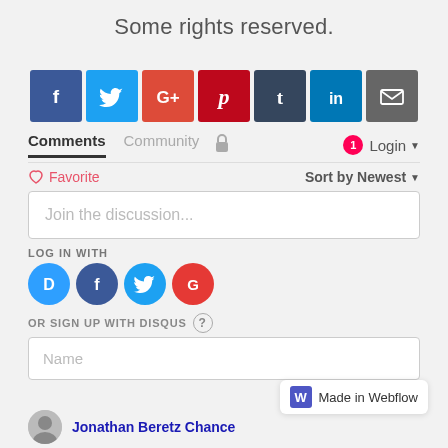Some rights reserved.
[Figure (infographic): Social media share icons: Facebook, Twitter, Google+, Pinterest, Tumblr, LinkedIn, Email]
[Figure (screenshot): Disqus comment section UI with tabs: Comments, Community, lock icon, badge '1', Login dropdown; Favorite / Sort by Newest row; Join the discussion input box; LOG IN WITH section with D, Facebook, Twitter, Google icons; OR SIGN UP WITH DISQUS with help icon; Name input field; Made in Webflow badge; Jonathan Beretz Chance profile row at bottom]